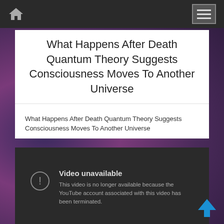Navigation bar with home icon and hamburger menu
What Happens After Death Quantum Theory Suggests Consciousness Moves To Another Universe
What Happens After Death Quantum Theory Suggests Consciousness Moves To Another Universe
[Figure (screenshot): Embedded YouTube video player showing 'Video unavailable' error message. Text reads: 'Video unavailable. This video is no longer available because the YouTube account associated with this video has been terminated.']